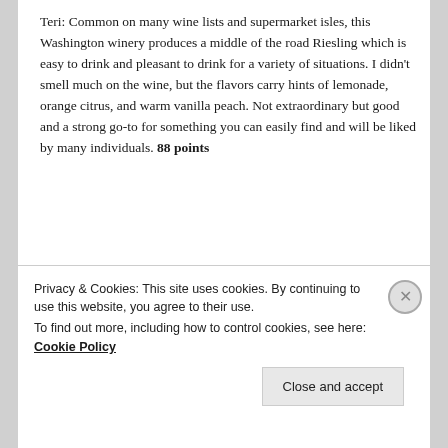Teri: Common on many wine lists and supermarket isles, this Washington winery produces a middle of the road Riesling which is easy to drink and pleasant to drink for a variety of situations. I didn't smell much on the wine, but the flavors carry hints of lemonade, orange citrus, and warm vanilla peach. Not extraordinary but good and a strong go-to for something you can easily find and will be liked by many individuals. 88 points
Posted in Standard Staples, Under $10 | Tagged 2013, Columbia Valley, Riesling, Washington | 1 Reply
Privacy & Cookies: This site uses cookies. By continuing to use this website, you agree to their use.
To find out more, including how to control cookies, see here: Cookie Policy